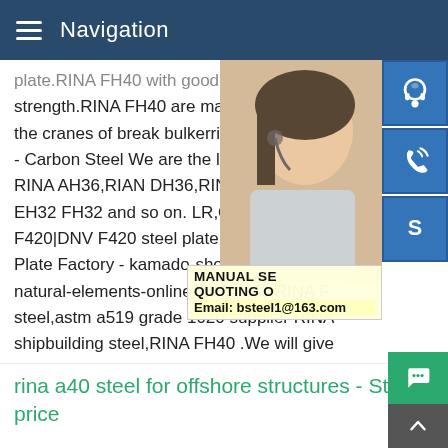Navigation
plate.RINA FH40 with good toughness pre strength.RINA FH40 are mainly used to cc the cranes of break bulkerrina grade f40 s - Carbon Steel We are the large export in RINA AH36,RIAN DH36,RINA EH36,RINA EH32 FH32 and so on. LR,GL,BV,CCS,NK F420|DNV F420 steel plate.Get Price.rina Plate Factory - kamado-shop.nl.RINA grac natural-elements-online.RINA F40,RINA F steel,astm a519 grade 1020 supplier RINA shipbuilding steel,RINA FH40 .We will give FH40,RI/F40 shipbuilding steel plate/sheet/angle bar/bulb flat bar/ L section steel bar competitive price,RINA FH40,RI/F40 shipbuilding steel plate/sheet/angle bar/bulb flat bar/ L
[Figure (photo): Woman with headset, customer support representative, partially visible on right side of page]
[Figure (infographic): Three blue icon buttons on right: headphone/support icon, phone/call icon, Skype icon]
MANUAL SE... QUOTING O... Email: bsteel1@163.com
rina a40 steel for offshore structures - Steel price